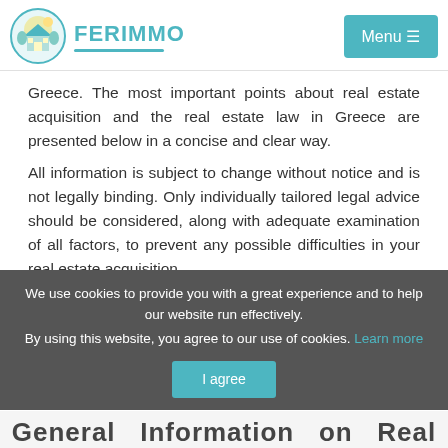[Figure (logo): FERIMMO logo with circular icon of house and trees in teal/yellow colors, with teal underline beneath the text]
Greece. The most important points about real estate acquisition and the real estate law in Greece are presented below in a concise and clear way. All information is subject to change without notice and is not legally binding. Only individually tailored legal advice should be considered, along with adequate examination of all factors, to prevent any possible difficulties in your real estate acquisition.
We use cookies to provide you with a great experience and to help our website run effectively. By using this website, you agree to our use of cookies. Learn more
General Information on Real